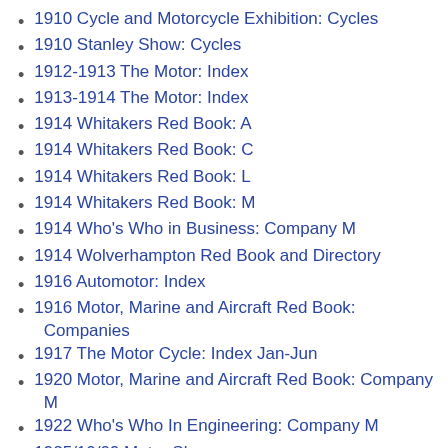1910 Cycle and Motorcycle Exhibition: Cycles
1910 Stanley Show: Cycles
1912-1913 The Motor: Index
1913-1914 The Motor: Index
1914 Whitakers Red Book: A
1914 Whitakers Red Book: C
1914 Whitakers Red Book: L
1914 Whitakers Red Book: M
1914 Who's Who in Business: Company M
1914 Wolverhampton Red Book and Directory
1916 Automotor: Index
1916 Motor, Marine and Aircraft Red Book: Companies
1917 The Motor Cycle: Index Jan-Jun
1920 Motor, Marine and Aircraft Red Book: Company M
1922 Who's Who In Engineering: Company M
1925/10/09 Motor Show
1926/10/22 Motor Show